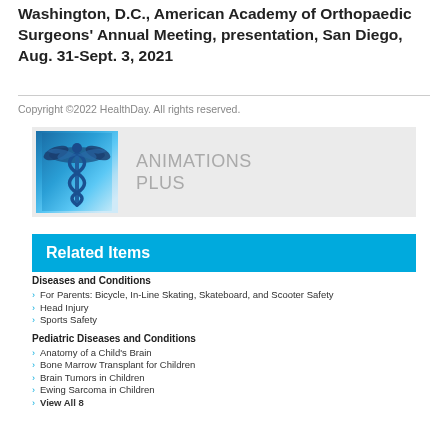Washington, D.C., American Academy of Orthopaedic Surgeons' Annual Meeting, presentation, San Diego, Aug. 31-Sept. 3, 2021
Copyright ©2022 HealthDay. All rights reserved.
[Figure (logo): ANIMATIONS PLUS logo with caduceus medical symbol image on left and text 'ANIMATIONS PLUS' on right, on grey background]
Related Items
Diseases and Conditions
For Parents: Bicycle, In-Line Skating, Skateboard, and Scooter Safety
Head Injury
Sports Safety
Pediatric Diseases and Conditions
Anatomy of a Child's Brain
Bone Marrow Transplant for Children
Brain Tumors in Children
Ewing Sarcoma in Children
View All 8